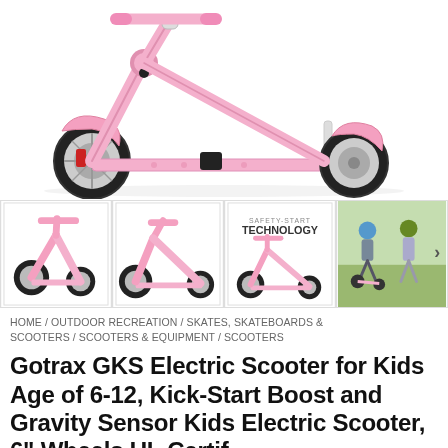[Figure (photo): Pink Gotrax GKS electric scooter shown from the side. The scooter is entirely pink with two black wheels, a folding handlebar stem, a flat deck, and red accent reflectors.]
[Figure (photo): Four thumbnail product images of the pink electric scooter: front-angle view, side profile, Safety-Start Technology diagram with text, and a child riding the scooter outdoors.]
HOME / OUTDOOR RECREATION / SKATES, SKATEBOARDS & SCOOTERS / SCOOTERS & EQUIPMENT / SCOOTERS
Gotrax GKS Electric Scooter for Kids Age of 6-12, Kick-Start Boost and Gravity Sensor Kids Electric Scooter, 6" Wheels UL Certif